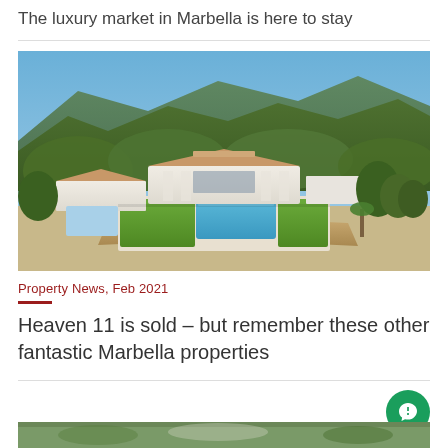The luxury market in Marbella is here to stay
[Figure (photo): Aerial view of a luxury white villa with large swimming pool, manicured lawn, and terraces set against a green forested mountain backdrop in Marbella]
Property News, Feb 2021
Heaven 11 is sold – but remember these other fantastic Marbella properties